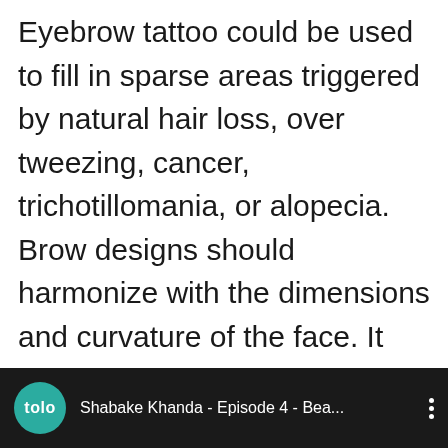Eyebrow tattoo could be used to fill in sparse areas triggered by natural hair loss, over tweezing, cancer, trichotillomania, or alopecia. Brow designs should harmonize with the dimensions and curvature of the face. It takes a skilled permanent makeup artist to achieve this since each face is unique and not entirely symmetric.
[Figure (screenshot): Video thumbnail bar with tolo network logo (teal circle with 'tolo' text) and video title 'Shabake Khanda - Episode 4 - Bea...' with three-dot menu icon, on dark/black background.]